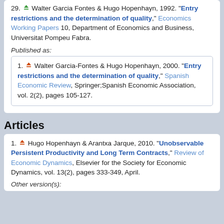29. Walter Garcia Fontes & Hugo Hopenhayn, 1992. "Entry restrictions and the determination of quality," Economics Working Papers 10, Department of Economics and Business, Universitat Pompeu Fabra.
Published as:
1. Walter Garcia-Fontes & Hugo Hopenhayn, 2000. "Entry restrictions and the determination of quality," Spanish Economic Review, Springer;Spanish Economic Association, vol. 2(2), pages 105-127.
Articles
1. Hugo Hopenhayn & Arantxa Jarque, 2010. "Unobservable Persistent Productivity and Long Term Contracts," Review of Economic Dynamics, Elsevier for the Society for Economic Dynamics, vol. 13(2), pages 333-349, April.
Other version(s):